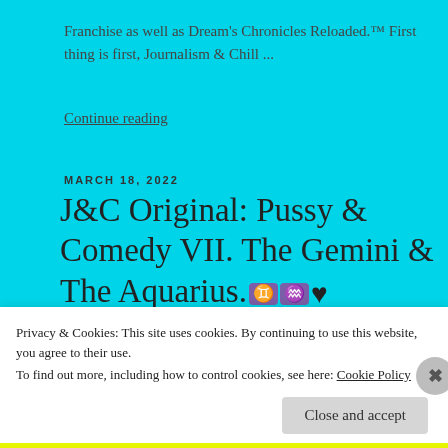Franchise as well as Dream's Chronicles Reloaded.™ First thing is first, Journalism & Chill ...
Continue reading
MARCH 18, 2022
J&C Original: Pussy & Comedy VII. The Gemini & The Aquarius. ♊ ♒ ♥
[Figure (screenshot): White article preview card box]
Privacy & Cookies: This site uses cookies. By continuing to use this website, you agree to their use. To find out more, including how to control cookies, see here: Cookie Policy
Close and accept